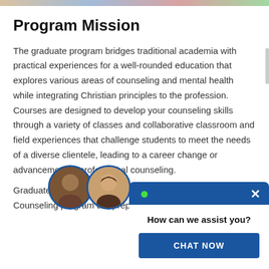Program Mission
The graduate program bridges traditional academia with practical experiences for a well-rounded education that explores various areas of counseling and mental health while integrating Christian principles to the profession. Courses are designed to develop your counseling skills through a variety of classes and collaborative classroom and field experiences that challenge students to meet the needs of a diverse clientele, leading to a career change or advancement in professional counseling.
[Figure (screenshot): Live chat widget overlay with two circular avatar photos (a male and a female), a green online dot, a close (X) button, the text 'How can we assist you?' and a 'CHAT NOW' button]
Graduates
Counseling program are prepared to work in a